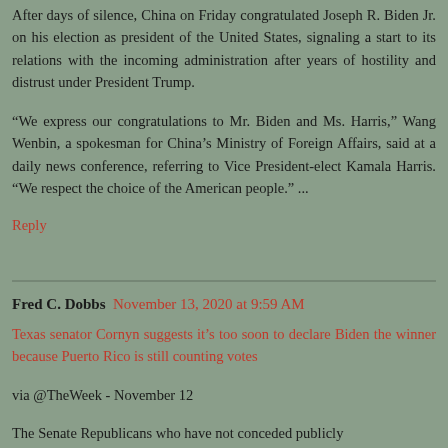After days of silence, China on Friday congratulated Joseph R. Biden Jr. on his election as president of the United States, signaling a start to its relations with the incoming administration after years of hostility and distrust under President Trump.
“We express our congratulations to Mr. Biden and Ms. Harris,” Wang Wenbin, a spokesman for China’s Ministry of Foreign Affairs, said at a daily news conference, referring to Vice President-elect Kamala Harris. “We respect the choice of the American people.” ...
Reply
Fred C. Dobbs  November 13, 2020 at 9:59 AM
Texas senator Cornyn suggests it's too soon to declare Biden the winner because Puerto Rico is still counting votes
via @TheWeek - November 12
The Senate Republicans who have not conceded publicly